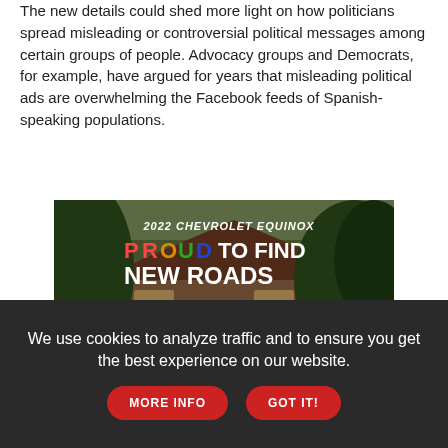The new details could shed more light on how politicians spread misleading or controversial political messages among certain groups of people. Advocacy groups and Democrats, for example, have argued for years that misleading political ads are overwhelming the Facebook feeds of Spanish-speaking populations.
[Figure (photo): Advertisement for 2022 Chevrolet Equinox showing a red SUV parked outside a house with two people standing nearby. Text reads '2022 CHEVROLET EQUINOX PROUD TO FIND NEW ROADS']
We use cookies to analyze traffic and to ensure you get the best experience on our website. MORE INFO GOT IT!